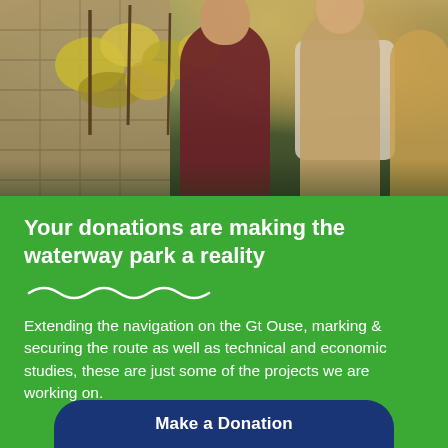[Figure (photo): People standing outdoors near autumn trees and a wooden building, wearing coats and scarves]
Your donations are making the waterway park a reality
Extending the navigation on the Gt Ouse, marking & securing the route as well as technical and economic studies, these are just some of the projects we are working on.
Make a Donation